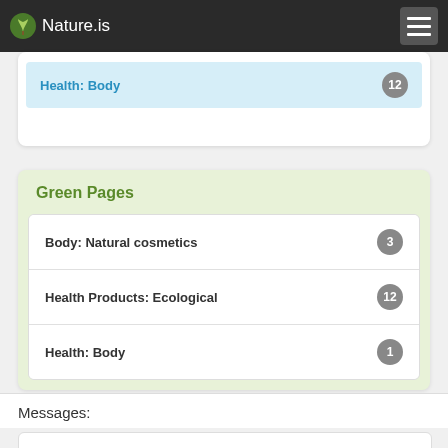Nature.is
Health: Body — 12
Green Pages
Body: Natural cosmetics — 3
Health Products: Ecological — 12
Health: Body — 1
Messages: